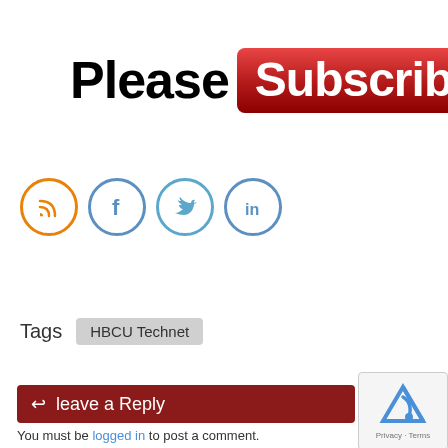[Figure (infographic): Please Subscribe banner: black bold text 'Please' followed by a red rounded-rectangle button with white bold text 'Subscribe']
[Figure (infographic): Four social media circle icons in a row: RSS (orange border), Facebook (blue border), Twitter (blue border), LinkedIn (blue border)]
Tags   HBCU Technet
leave a Reply
You must be logged in to post a comment.